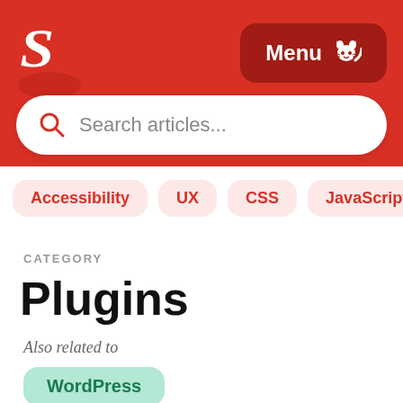Smashing Magazine header with logo and Menu button
Search articles...
Accessibility
UX
CSS
JavaScript
Perfor...
CATEGORY
Plugins
Also related to
WordPress